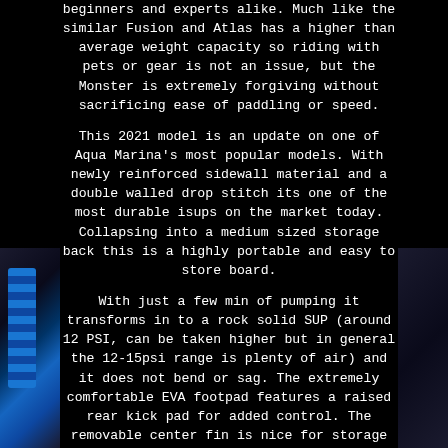beginners and experts alike. Much like the similar Fusion and Atlas has a higher than average weight capacity so riding with pets or gear is not an issue, but the Monster is extremely forgiving without sacrificing ease of paddling or speed.
This 2021 model is an update on one of Aqua Marina's most popular models. With newly reinforced sidewall material and a double walled drop stitch its one of the most durable isups on the market today. Collapsing into a medium sized storage back this is a highly portable and easy to store board.
With just a few min of pumping it transforms in to a rock solid SUP (around 12 PSI, can be taken higher but in general the 12-15psi range is plenty of air) and it does not bend or sag. The extremely comfortable EVA footpad features a raised rear kick pad for added control. The removable center fin is nice for storage and transportation as well as easy to install. This is a complete setup and includes the board, high pressure pump, paddle, repair kit, removable fin, and a
[Figure (photo): Black bag/backpack with blue stripe accents visible on the left side of the page]
[Figure (photo): Dark bag visible on the right side of the page]